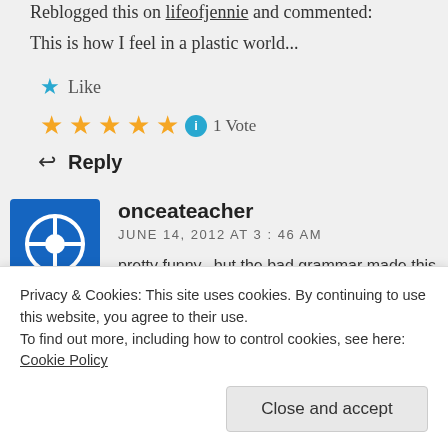Reblogged this on lifeofjennie and commented:
This is how I feel in a plastic world...
★ Like
★★★★★ ⓘ 1 Vote
↩ Reply
onceateacher
JUNE 14, 2012 AT 3:46 AM
pretty funny...but the bad grammar made this
Privacy & Cookies: This site uses cookies. By continuing to use this website, you agree to their use.
To find out more, including how to control cookies, see here: Cookie Policy
Close and accept